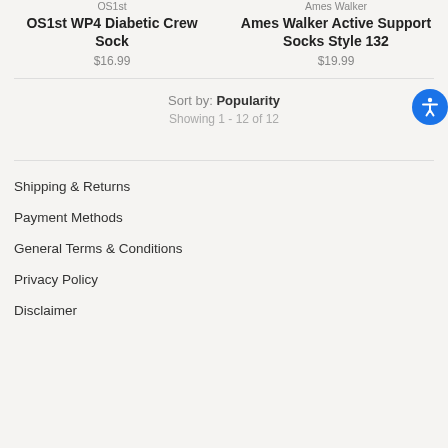OS1st
OS1st WP4 Diabetic Crew Sock
$16.99
Ames Walker
Ames Walker Active Support Socks Style 132
$19.99
Sort by: Popularity
Showing 1 - 12 of 12
Shipping & Returns
Payment Methods
General Terms & Conditions
Privacy Policy
Disclaimer